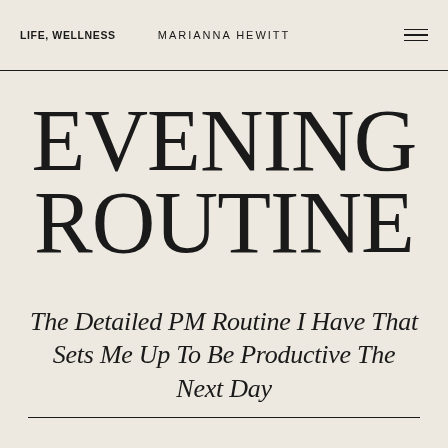LIFE, WELLNESS
MARIANNA HEWITT
EVENING ROUTINE
The Detailed PM Routine I Have That Sets Me Up To Be Productive The Next Day